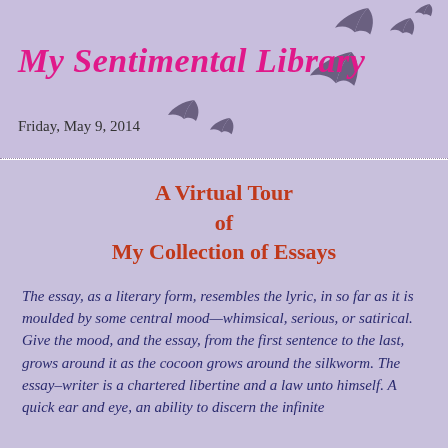My Sentimental Library
Friday, May 9, 2014
A Virtual Tour
of
My Collection of Essays
The essay, as a literary form, resembles the lyric, in so far as it is moulded by some central mood—whimsical, serious, or satirical. Give the mood, and the essay, from the first sentence to the last, grows around it as the cocoon grows around the silkworm. The essay–writer is a chartered libertine and a law unto himself. A quick ear and eye, an ability to discern the infinite